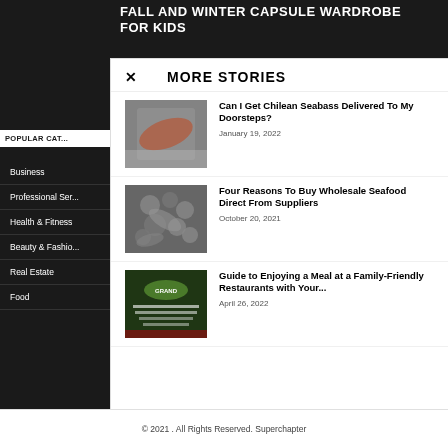FALL AND WINTER CAPSULE WARDROBE FOR KIDS
× MORE STORIES
[Figure (photo): Salmon fillet on ice/salt bed]
Can I Get Chilean Seabass Delivered To My Doorsteps?
January 19, 2022
[Figure (photo): Dried octopus or squid pieces close-up]
Four Reasons To Buy Wholesale Seafood Direct From Suppliers
October 20, 2021
[Figure (photo): Guide to Enjoying a meal at a Family-Friendly Restaurants with Your Kids - dark restaurant interior with Grand logo]
Guide to Enjoying a Meal at a Family-Friendly Restaurants with Your...
April 26, 2022
Business
Professional Ser...
Health & Fitness
Beauty & Fashio...
Real Estate
Food
© 2021 . All Rights Reserved. Superchapter